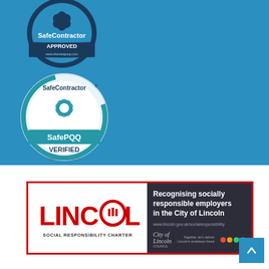[Figure (logo): SafeContractor Approved circular badge — dark navy ring with blue center showing a leaf/snowflake icon, text 'SafeContractor APPROVED www.shumansgroup.com'. Partially cropped at top of page.]
[Figure (logo): SafePQQ Verified circular badge — white circle with teal/blue ring, flower/leaf icon in the center, teal band with 'SafePQQ' text and 'VERIFIED' below, url 'www.shumansgroup.com' at bottom.]
[Figure (logo): Lincoln Social Responsibility Charter banner. Left white panel: red 'LINCOLN' bold text with city icon in the O, below 'SOCIAL RESPONSIBILITY CHARTER'. Right dark panel: 'Recognising socially responsible employers in the City of Lincoln', url 'www.lincoln.gov.uk/socialresponsibility', City of Lincoln council logo and tagline 'Together, let's deliver Lincoln's ambitious future' with coloured dots.]